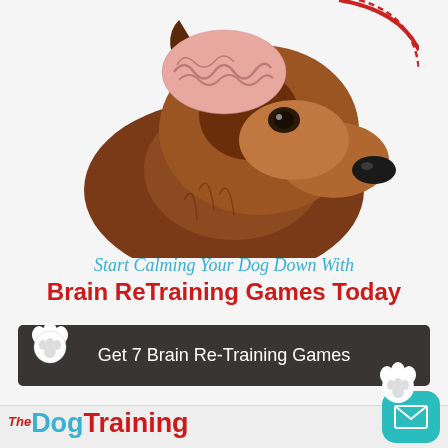[Figure (illustration): Illustrated dog head (German Shepherd type) with a stylized brain visible on top of the skull, facing right, on a light background with a red curved accent at top right.]
Start Calming Your Dog Down With Brain ReTraining Games Today
[Figure (infographic): Dark rounded button reading 'Get 7 Brain Re-Training Games' with white paw print icons on left and right sides.]
[Figure (logo): The DogTraining logo — 'The' in italic red small text, 'Dog' in teal large bold, 'Training' in red large bold.]
[Figure (illustration): Teal rounded square mail/envelope icon button in bottom right corner.]